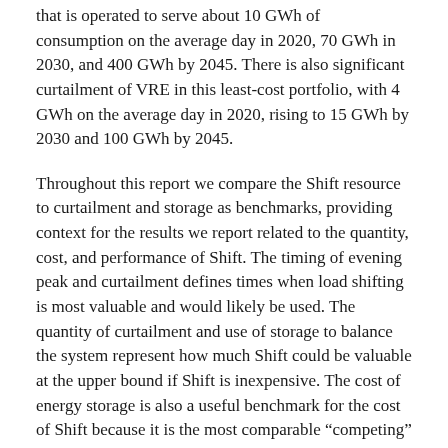that is operated to serve about 10 GWh of consumption on the average day in 2020, 70 GWh in 2030, and 400 GWh by 2045. There is also significant curtailment of VRE in this least-cost portfolio, with 4 GWh on the average day in 2020, rising to 15 GWh by 2030 and 100 GWh by 2045.
Throughout this report we compare the Shift resource to curtailment and storage as benchmarks, providing context for the results we report related to the quantity, cost, and performance of Shift. The timing of evening peak and curtailment defines times when load shifting is most valuable and would likely be used. The quantity of curtailment and use of storage to balance the system represent how much Shift could be valuable at the upper bound if Shift is inexpensive. The cost of energy storage is also a useful benchmark for the cost of Shift because it is the most comparable “competing” technology option; we therefore use the cost of storage to set a reference price level below which Shift will be most broadly cost competitive.